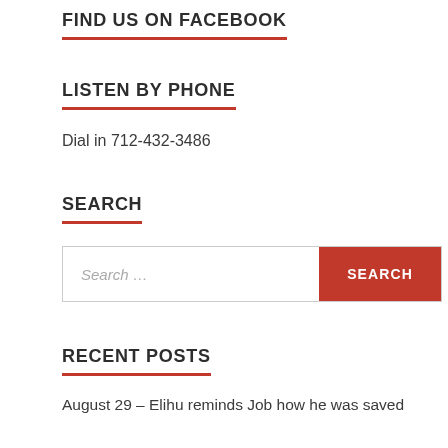FIND US ON FACEBOOK
LISTEN BY PHONE
Dial in 712-432-3486
SEARCH
RECENT POSTS
August 29 – Elihu reminds Job how he was saved